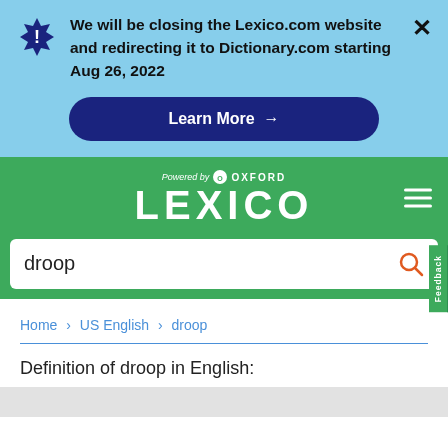We will be closing the Lexico.com website and redirecting it to Dictionary.com starting Aug 26, 2022
Learn More →
[Figure (logo): LEXICO powered by Oxford logo in white on green background]
droop
Home > US English > droop
Definition of droop in English: